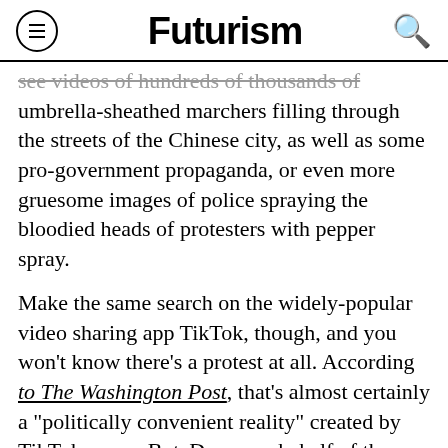Futurism
see videos of hundreds of thousands of umbrella-sheathed marchers filling through the streets of the Chinese city, as well as some pro-government propaganda, or even more gruesome images of police spraying the bloodied heads of protesters with pepper spray.
Make the same search on the widely-popular video sharing app TikTok, though, and you won't know there's a protest at all. According to The Washington Post, that's almost certainly a "politically convenient reality" created by TikTok owner ByteDance on behalf of the Chinese government — a terrifying example of how social media can be manipulated as a form of social